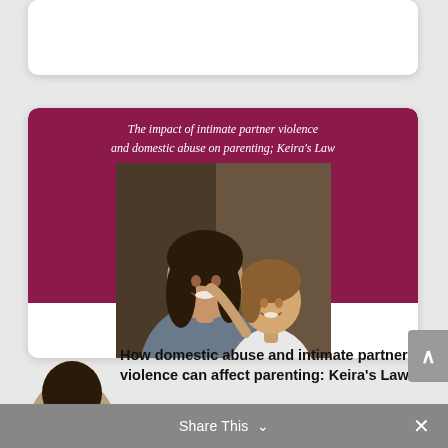[Figure (photo): Partial white card visible at the top of the page, cropped]
The impact of intimate partner violence and domestic abuse on parenting; Keira's Law
[Figure (photo): Photograph of a woman and a young girl smiling together, displayed on a maroon background banner]
[Figure (photo): Partial circular avatar/profile image at bottom left of article card, showing the top of a person's head]
How domestic abuse and intimate partner violence can affect parenting: Keira's Law
Share This